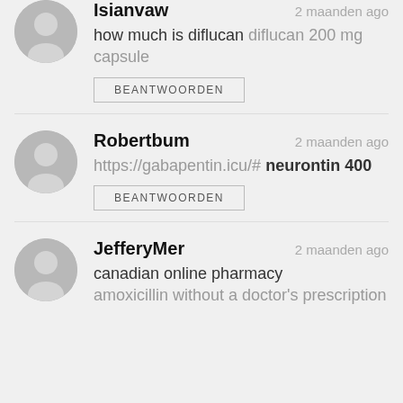Isianvaw — 2 maanden ago — how much is diflucan diflucan 200 mg capsule
BEANTWOORDEN
Robertbum — 2 maanden ago — https://gabapentin.icu/# neurontin 400
BEANTWOORDEN
JefferyMer — 2 maanden ago — canadian online pharmacy amoxicillin without a doctor's prescription